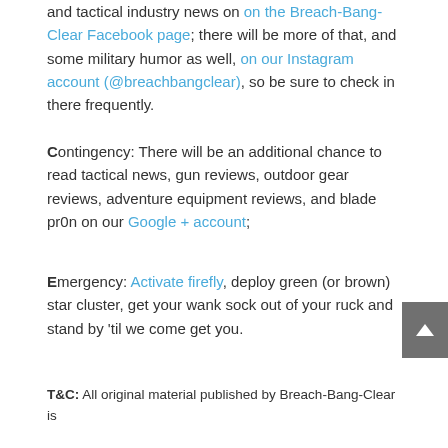and tactical industry news on on the Breach-Bang-Clear Facebook page; there will be more of that, and some military humor as well, on our Instagram account (@breachbangclear), so be sure to check in there frequently.
Contingency: There will be an additional chance to read tactical news, gun reviews, outdoor gear reviews, adventure equipment reviews, and blade pr0n on our Google + account;
Emergency: Activate firefly, deploy green (or brown) star cluster, get your wank sock out of your ruck and stand by 'til we come get you.
T&C: All original material published by Breach-Bang-Clear is